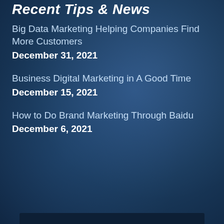Recent Tips & News
Big Data Marketing Helping Companies Find More Customers
December 31, 2021
Business Digital Marketing in A Good Time
December 15, 2021
How to Do Brand Marketing Through Baidu
December 6, 2021